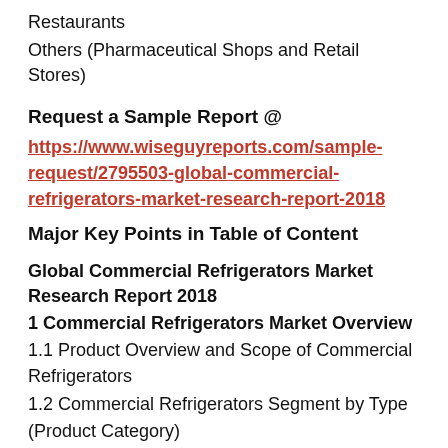Restaurants
Others (Pharmaceutical Shops and Retail Stores)
Request a Sample Report @
https://www.wiseguyreports.com/sample-request/2795503-global-commercial-refrigerators-market-research-report-2018
Major Key Points in Table of Content
Global Commercial Refrigerators Market Research Report 2018
1 Commercial Refrigerators Market Overview
1.1 Product Overview and Scope of Commercial Refrigerators
1.2 Commercial Refrigerators Segment by Type (Product Category)
1.2.1 Global Commercial Refrigerators Production and CAGR (%) Comparison by Type (Product Category)(2013-2025)